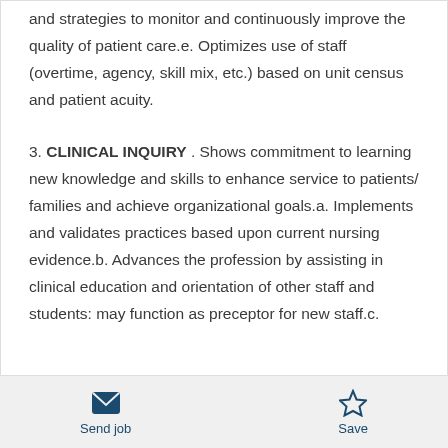and strategies to monitor and continuously improve the quality of patient care.e. Optimizes use of staff (overtime, agency, skill mix, etc.) based on unit census and patient acuity.
3. CLINICAL INQUIRY . Shows commitment to learning new knowledge and skills to enhance service to patients/ families and achieve organizational goals.a. Implements and validates practices based upon current nursing evidence.b. Advances the profession by assisting in clinical education and orientation of other staff and students: may function as preceptor for new staff.c.
Send job    Save